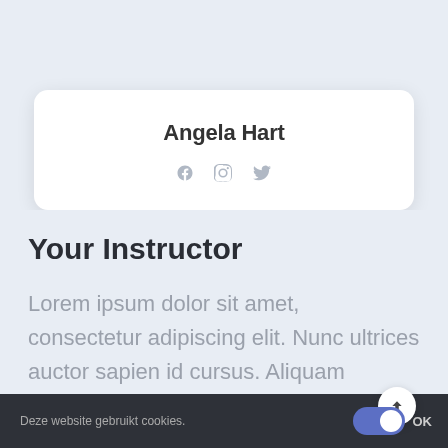Angela Hart
[Figure (other): Social media icons: Facebook, Instagram, Twitter]
Your Instructor
Lorem ipsum dolor sit amet, consectetur adipiscing elit. Nunc ultrices auctor sapien id cursus. Aliquam
Deze website gebruikt cookies.  OK